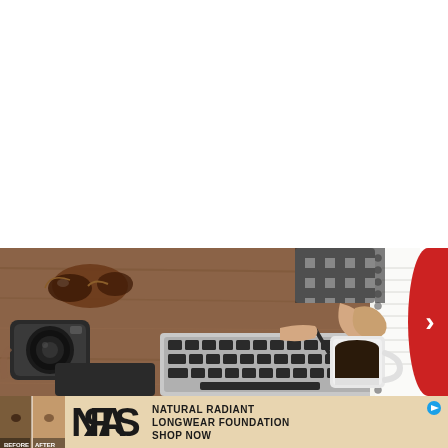[Figure (photo): Top-down view of a wooden desk with a person writing in a spiral notebook, a laptop keyboard, sunglasses, a vintage camera, and a coffee cup. The person is wearing a checkered shirt.]
[Figure (photo): NARS advertisement banner showing before/after foundation comparison, NARS logo, text 'NATURAL RADIANT LONGWEAR FOUNDATION SHOP NOW' on a tan/beige background.]